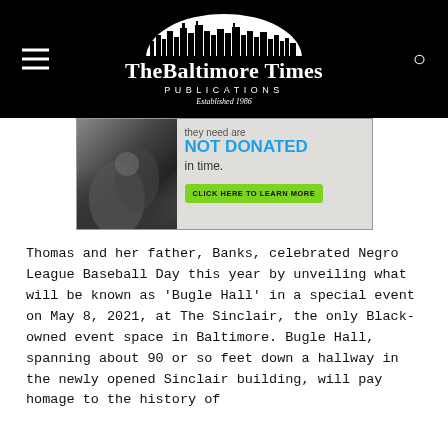The Baltimore Times Publications — Established 1986
[Figure (photo): Advertisement banner showing hands and a blood donation message: 'they need are NOT DONATED in time. CLICK HERE TO LEARN MORE']
Thomas and her father, Banks, celebrated Negro League Baseball Day this year by unveiling what will be known as 'Bugle Hall' in a special event on May 8, 2021, at The Sinclair, the only Black-owned event space in Baltimore. Bugle Hall, spanning about 90 or so feet down a hallway in the newly opened Sinclair building, will pay homage to the history of